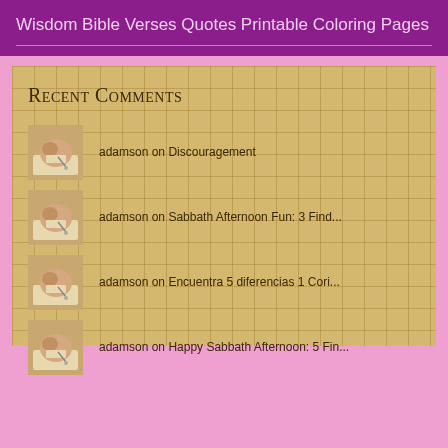Wisdom Bible Verses Quotes Printable Coloring Pages
Recent Comments
adamson on Discouragement
adamson on Sabbath Afternoon Fun: 3 Find...
adamson on Encuentra 5 diferencias 1 Cori...
adamson on Happy Sabbath Afternoon: 5 Fin...